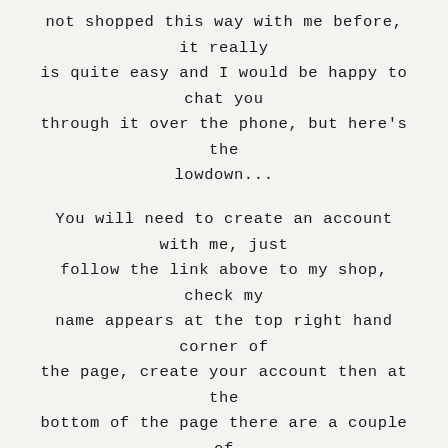not shopped this way with me before, it really is quite easy and I would be happy to chat you through it over the phone, but here's the lowdown...
You will need to create an account with me, just follow the link above to my shop, check my name appears at the top right hand corner of the page, create your account then at the bottom of the page there are a couple of questions.
[Figure (screenshot): Small form snippet showing two checkboxes: one for receiving updates on products, promotions and upcoming events from Stampin' Up!, one for allowing demonstrator to contact with order updates, and a note about changing email preferences.]
It is very important that you tick the second box as YES so that I am able to see you and your